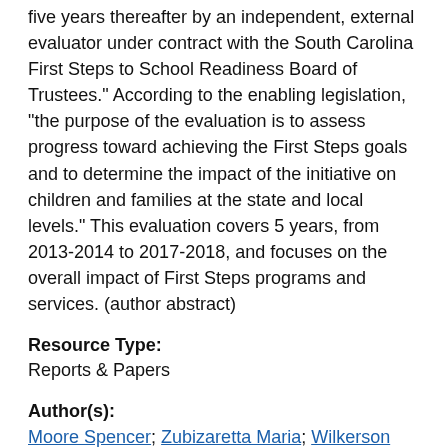five years thereafter by an independent, external evaluator under contract with the South Carolina First Steps to School Readiness Board of Trustees." According to the enabling legislation, "the purpose of the evaluation is to assess progress toward achieving the First Steps goals and to determine the impact of the initiative on children and families at the state and local levels." This evaluation covers 5 years, from 2013-2014 to 2017-2018, and focuses on the overall impact of First Steps programs and services. (author abstract)
Resource Type:
Reports & Papers
Author(s):
Moore Spencer; Zubizaretta Maria; Wilkerson Rebecca; Cummings Tammy; Mayfield-Smith Kathy; Lopez-DeFede Ana
Publisher(s):
University of South Carolina. Institute for Families in Society
Funder(s):